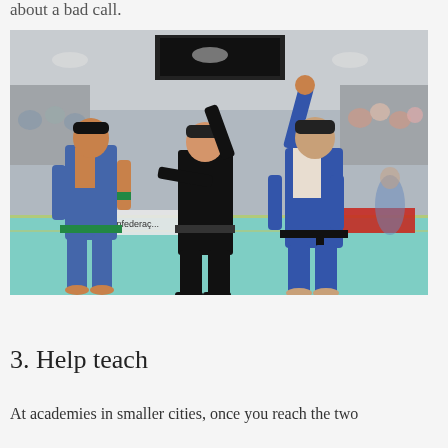about a bad call.
[Figure (photo): A BJJ (Brazilian Jiu-Jitsu) referee in a black uniform raises the arm of a winner in a blue gi at a competition. Another competitor in a blue gi with a green belt stands to the left. The setting is an indoor sports arena with spectators and banners visible in the background.]
3. Help teach
At academies in smaller cities, once you reach the two